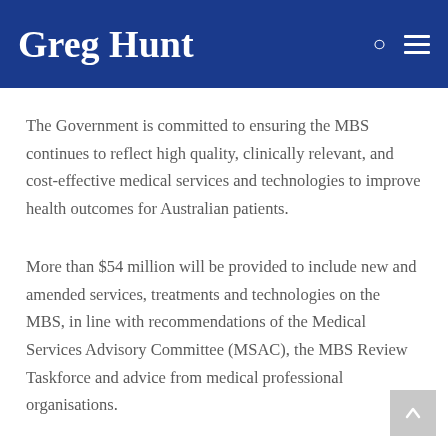Greg Hunt
The Government is committed to ensuring the MBS continues to reflect high quality, clinically relevant, and cost-effective medical services and technologies to improve health outcomes for Australian patients.
More than $54 million will be provided to include new and amended services, treatments and technologies on the MBS, in line with recommendations of the Medical Services Advisory Committee (MSAC), the MBS Review Taskforce and advice from medical professional organisations.